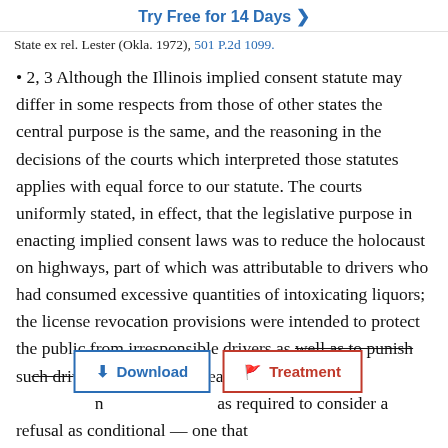Try Free for 14 Days >
State ex rel. Lester (Okla. 1972), 501 P.2d 1099.
• 2, 3 Although the Illinois implied consent statute may differ in some respects from those of other states the central purpose is the same, and the reasoning in the decisions of the courts which interpreted those statutes applies with equal force to our statute. The courts uniformly stated, in effect, that the legislative purpose in enacting implied consent laws was to reduce the holocaust on highways, part of which was attributable to drivers who had consumed excessive quantities of intoxicating liquors; the license revocation provisions were intended to protect the public from irresponsible drivers as well as to punish such drivers; it would be unreasonable ... n ... as required to consider a refusal as conditional — one that